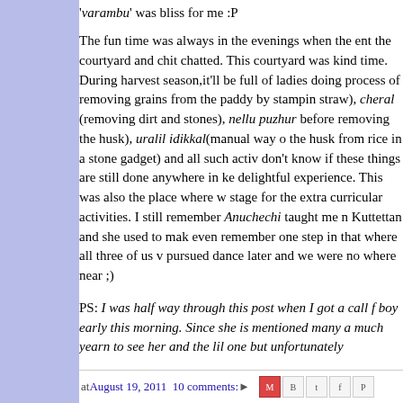'varambu' was bliss for me :P
The fun time was always in the evenings when the ent the courtyard and chit chatted. This courtyard was kind time. During harvest season,it'll be full of ladies doing process of removing grains from the paddy by stampin straw), cheral (removing dirt and stones), nellu puzhur before removing the husk), uralil idikkal(manual way o the husk from rice in a stone gadget) and all such activ don't know if these things are still done anywhere in ke delightful experience. This was also the place where w stage for the extra curricular activities. I still remember Anuchechi taught me n Kuttettan and she used to mak even remember one step in that where all three of us v pursued dance later and we were no where near ;)
PS: I was half way through this post when I got a call f boy early this morning. Since she is mentioned many a much yearn to see her and the lil one but unfortunately
at August 19, 2011   10 comments: